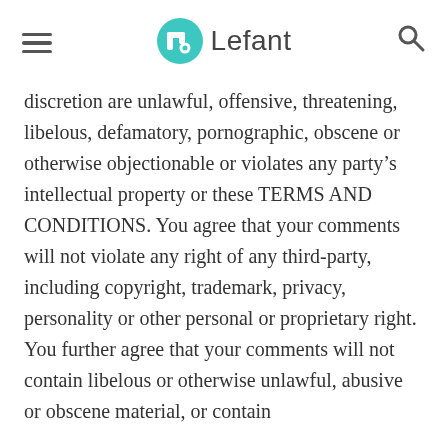Lefant
discretion are unlawful, offensive, threatening, libelous, defamatory, pornographic, obscene or otherwise objectionable or violates any party’s intellectual property or these TERMS AND CONDITIONS. You agree that your comments will not violate any right of any third-party, including copyright, trademark, privacy, personality or other personal or proprietary right. You further agree that your comments will not contain libelous or otherwise unlawful, abusive or obscene material, or contain